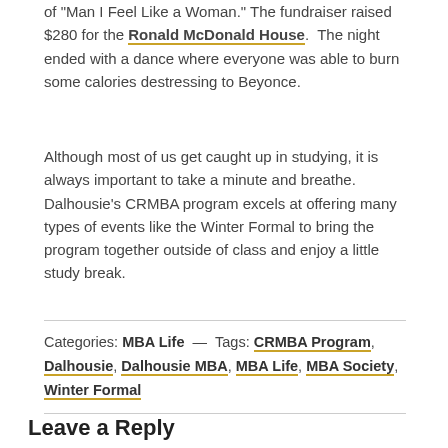of "Man I Feel Like a Woman." The fundraiser raised $280 for the Ronald McDonald House. The night ended with a dance where everyone was able to burn some calories destressing to Beyonce.
Although most of us get caught up in studying, it is always important to take a minute and breathe. Dalhousie's CRMBA program excels at offering many types of events like the Winter Formal to bring the program together outside of class and enjoy a little study break.
Categories: MBA Life — Tags: CRMBA Program, Dalhousie, Dalhousie MBA, MBA Life, MBA Society, Winter Formal
Leave a Reply